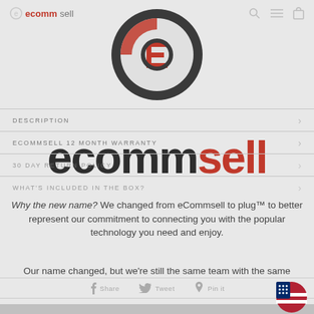ecommsell
[Figure (logo): eCommsell circular logo with dark gray ring and pink/red stylized 'e' letter inside, upper left and upper center of page]
DESCRIPTION
ECOMMSELL 12 MONTH WARRANTY
[Figure (logo): Large ecommsell wordmark text overlay in dark charcoal and red colors]
30 DAY RETURN POLICY
WHAT'S INCLUDED IN THE BOX?
Why the new name? We changed from eCommsell to plug™ to better represent our commitment to connecting you with the popular technology you need and enjoy.
Our name changed, but we're still the same team with the same goals.
Share   Tweet   Pin it